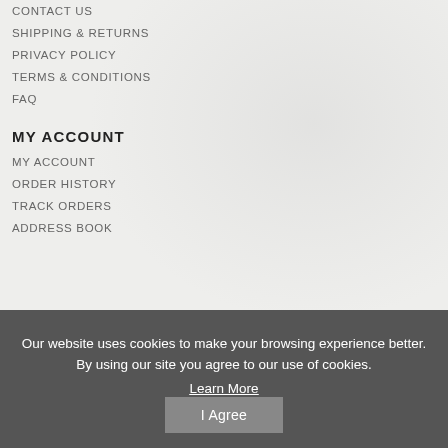CONTACT US
SHIPPING & RETURNS
PRIVACY POLICY
TERMS & CONDITIONS
FAQ
MY ACCOUNT
MY ACCOUNT
ORDER HISTORY
TRACK ORDERS
ADDRESS BOOK
Our website uses cookies to make your browsing experience better. By using our site you agree to our use of cookies.
Learn More
I Agree